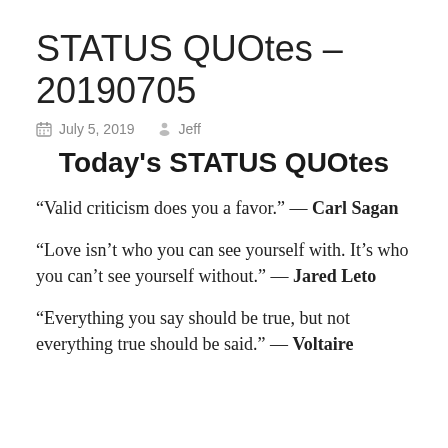STATUS QUOtes – 20190705
July 5, 2019   Jeff
Today's STATUS QUOtes
“Valid criticism does you a favor.” — Carl Sagan
“Love isn’t who you can see yourself with. It’s who you can’t see yourself without.” — Jared Leto
“Everything you say should be true, but not everything true should be said.” — Voltaire